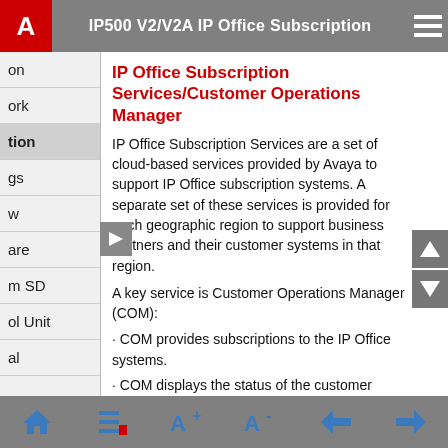IP500 V2/V2A IP Office Subscription
IP Office Subscription Services/Customer Operations Manager
IP Office Subscription Services are a set of cloud-based services provided by Avaya to support IP Office subscription systems. A separate set of these services is provided for each geographic region to support business partners and their customer systems in that region.
A key service is Customer Operations Manager (COM):
COM provides subscriptions to the IP Office systems.
COM displays the status of the customer systems and information about current alarms, type of system, software level, etc.
Avaya have access to COM for their support staff in order to manage the COM services and to assists
Home | List | A+ | A- | Back | Forward